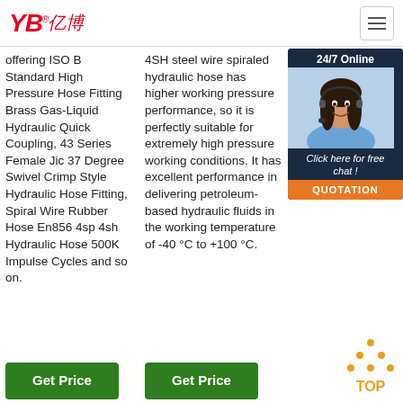[Figure (logo): YB亿博 logo in red italic text with registered trademark symbol]
[Figure (other): Hamburger menu icon button]
offering ISO B Standard High Pressure Hose Fitting Brass Gas-Liquid Hydraulic Quick Coupling, 43 Series Female Jic 37 Degree Swivel Crimp Style Hydraulic Hose Fitting, Spiral Wire Rubber Hose En856 4sp 4sh Hydraulic Hose 500K Impulse Cycles and so on.
4SH steel wire spiraled hydraulic hose has higher working pressure performance, so it is perfectly suitable for extremely high pressure working conditions. It has excellent performance in delivering petroleum-based hydraulic fluids in the working temperature of -40 °C to +100 °C.
car's performance. The 853 hyd ens
[Figure (photo): Customer service representative wearing headset, smiling, with 24/7 Online chat widget overlay including QUOTATION button]
Get Price
Get Price
[Figure (other): TOP button with orange dots forming upward triangle above the text TOP]